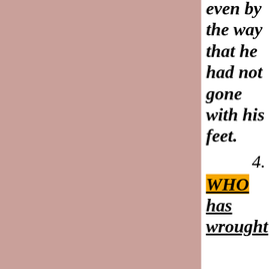[Figure (illustration): A large pinkish-mauve colored rectangular block occupying the left two-thirds of the page.]
even by the way that he had not gone with his feet.
4.
WHO has wrought